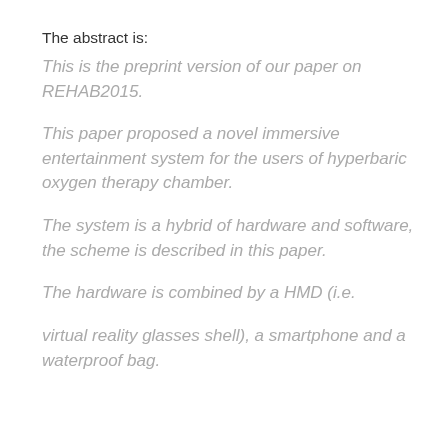The abstract is:
This is the preprint version of our paper on REHAB2015.
This paper proposed a novel immersive entertainment system for the users of hyperbaric oxygen therapy chamber.
The system is a hybrid of hardware and software, the scheme is described in this paper.
The hardware is combined by a HMD (i.e.
virtual reality glasses shell), a smartphone and a waterproof bag.